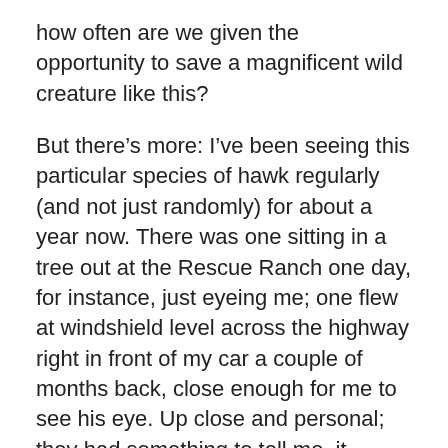how often are we given the opportunity to save a magnificent wild creature like this?
But there’s more: I’ve been seeing this particular species of hawk regularly (and not just randomly) for about a year now. There was one sitting in a tree out at the Rescue Ranch one day, for instance, just eyeing me; one flew at windshield level across the highway right in front of my car a couple of months back, close enough for me to see his eye. Up close and personal; they had something to tell me, it seemed.
I shared the story in the class on Sunday, where we were talking about the relational, collaborative nature of the universe. One of my students pointed out that there must be a message for me, and an important one, if this bird was willing to nearly die so that I could really hear him